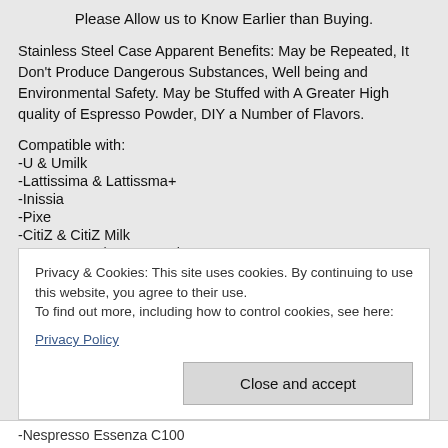Please Allow us to Know Earlier than Buying.
Stainless Steel Case Apparent Benefits: May be Repeated, It Don't Produce Dangerous Substances, Well being and Environmental Safety. May be Stuffed with A Greater High quality of Espresso Powder, DIY a Number of Flavors.
Compatible with:
-U & Umilk
-Lattissima & Lattissma+
-Inissia
-Pixe
-CitiZ & CitiZ Milk
-Gran Maestria & Maestria...
Privacy & Cookies: This site uses cookies. By continuing to use this website, you agree to their use.
To find out more, including how to control cookies, see here:
Privacy Policy
Close and accept
-Nespresso Essenza C100